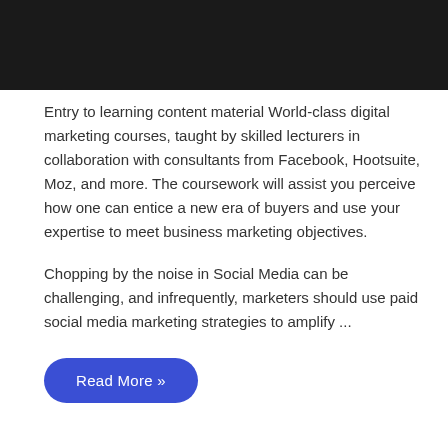[Figure (other): Dark/black banner image at the top of the page]
Entry to learning content material World-class digital marketing courses, taught by skilled lecturers in collaboration with consultants from Facebook, Hootsuite, Moz, and more. The coursework will assist you perceive how one can entice a new era of buyers and use your expertise to meet business marketing objectives.
Chopping by the noise in Social Media can be challenging, and infrequently, marketers should use paid social media marketing strategies to amplify ...
Read More »
Think Enterprise Improvement Does not Matter? Assume Once more